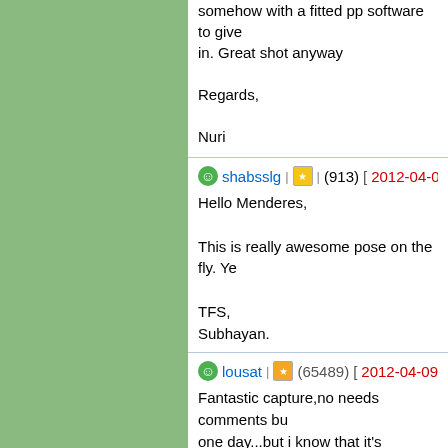somehow with a fitted pp software to give in. Great shot anyway

Regards,

Nuri
shabsslg | ★ | (913) [2012-04-09 9:45]
Hello Menderes,
This is really awesome pose on the fly. Ye
TFS,
Subhayan.
lousat | ★ | (65489) [2012-04-09 15:03]
Fantastic capture,no needs comments bu one day...but i know that it's impossible..e
josediogo1958 | ★ | (11747) [2012-04-10 3...]
Hello Menderes,
Impressive in flight capture of this beauty contrast.Great!
Thank You
Kind regards
J.Diogo
tkp1165 | ★ | (3876) [2012-04-10 22:51]